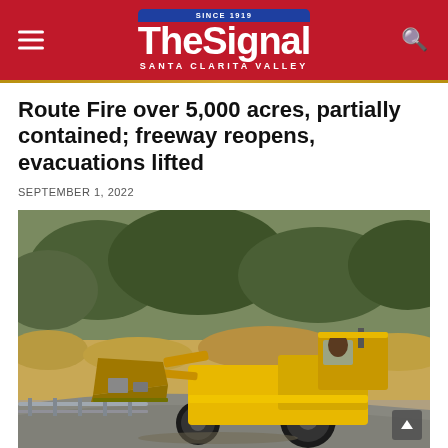The Signal — Santa Clarita Valley
Route Fire over 5,000 acres, partially contained; freeway reopens, evacuations lifted
SEPTEMBER 1, 2022
[Figure (photo): A yellow front-loader bulldozer on a road near scorched hillside vegetation, working during the Route Fire response. A metal guardrail is visible in the foreground.]